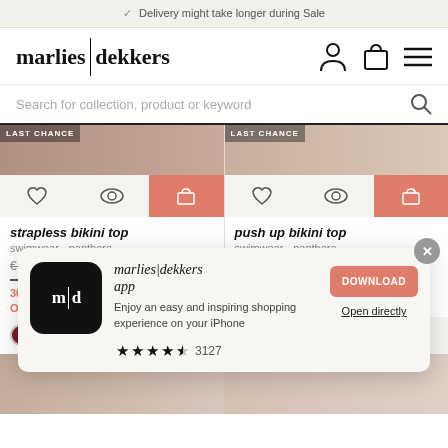Delivery might take longer during Sale
[Figure (logo): marlies|dekkers logo with separator bar]
Search for collection, product or keyword
[Figure (photo): Two product cards for strapless bikini top and push up bikini top with LAST CHANCE label, product action buttons, and pricing]
strapless bikini top
swimwear - panthera
€ 109,95 € 76,96
30% OFF
OUTLET
push up bikini top
swimwear - panthera
€ 109,95 € 76,96
30% OFF
OUTLET
[Figure (screenshot): marlies|dekkers app popup with m|d icon, app description, download button, open directly link, and star rating 3127 reviews]